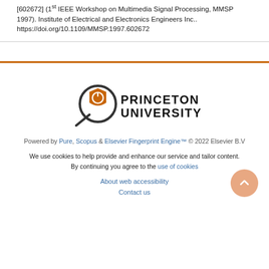[602672] (1st IEEE Workshop on Multimedia Signal Processing, MMSP 1997). Institute of Electrical and Electronics Engineers Inc.. https://doi.org/10.1109/MMSP.1997.602672
[Figure (logo): Princeton University logo with magnifying glass and shield icon alongside the text PRINCETON UNIVERSITY]
Powered by Pure, Scopus & Elsevier Fingerprint Engine™ © 2022 Elsevier B.V
We use cookies to help provide and enhance our service and tailor content. By continuing you agree to the use of cookies
About web accessibility
Contact us